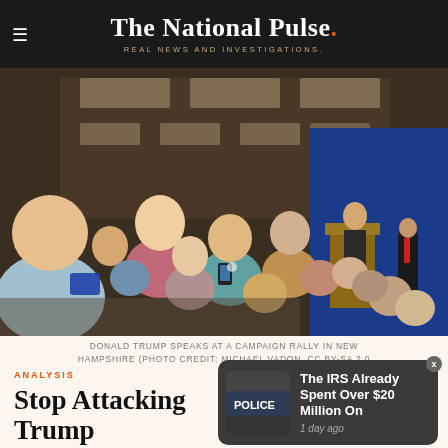The National Pulse. REAL NEWS AND INVESTIGATIONS.
[Figure (photo): Donald Trump speaks at a crowded campaign rally in New Hampshire. Audience members stand and photograph the speaker at a podium on a stage with a blue banner backdrop. A man in a suit stands to the right.]
DONALD TRUMP SPEAKS AT A CAMPAIGN RALLY IN NEW HAMPSHIRE (PHOTO CREDIT: MICHAEL VADON, CC BY-SA 2.0)
[Figure (screenshot): Notification popup: 'The IRS Already Spent Over $20 Million On' with a thumbnail image of police vehicles, timestamped '1 day ago']
ANALYSIS
Stop Attacking Trump Supporters!